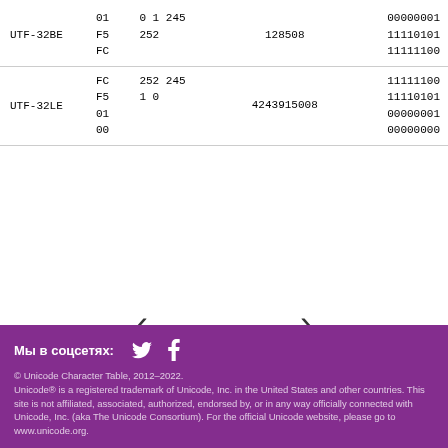| Encoding | Hex bytes | Decimal bytes | Decimal value | Binary |
| --- | --- | --- | --- | --- |
| UTF-32BE | 01
F5
FC | 0 1 245
252 | 128508 | 00000001
11110101
11111100 |
| UTF-32LE | FC
F5
01
00 | 252 245
1 0 | 4243915008 | 11111100
11110101
00000001
00000000 |
[Figure (other): Navigation arrows: left chevron and right chevron]
Мы в соцсетях: [Twitter] [Facebook]
© Unicode Character Table, 2012–2022.
Unicode® is a registered trademark of Unicode, Inc. in the United States and other countries. This site is not affiliated, associated, authorized, endorsed by, or in any way officially connected with Unicode, Inc. (aka The Unicode Consortium). For the official Unicode website, please go to www.unicode.org.